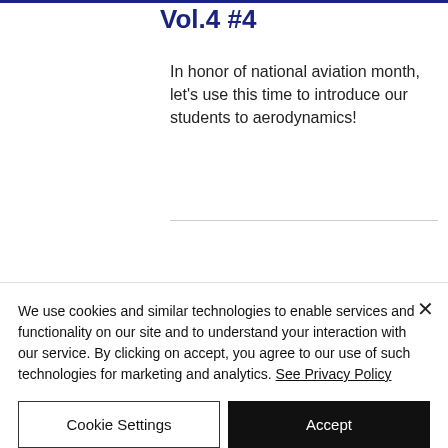Vol.4 #4
In honor of national aviation month, let's use this time to introduce our students to aerodynamics!
We use cookies and similar technologies to enable services and functionality on our site and to understand your interaction with our service. By clicking on accept, you agree to our use of such technologies for marketing and analytics. See Privacy Policy